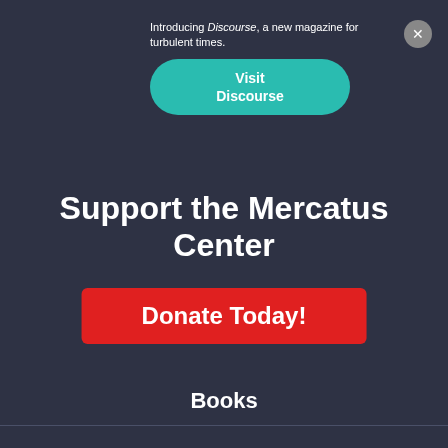Introducing Discourse, a new magazine for turbulent times.
Visit Discourse
Support the Mercatus Center
Donate Today!
Books
Policy Briefings
Research Areas